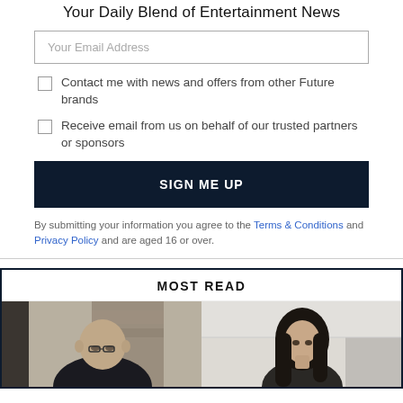Your Daily Blend of Entertainment News
Your Email Address
Contact me with news and offers from other Future brands
Receive email from us on behalf of our trusted partners or sponsors
SIGN ME UP
By submitting your information you agree to the Terms & Conditions and Privacy Policy and are aged 16 or over.
MOST READ
[Figure (photo): Two photos side by side: left shows a bald man looking down, right shows a dark-haired woman]